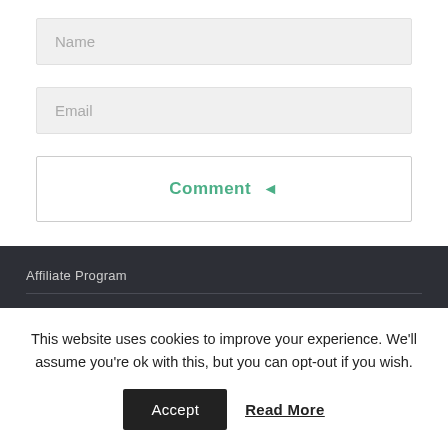Name
Email
Comment ←
Affiliate Program
This website uses cookies to improve your experience. We'll assume you're ok with this, but you can opt-out if you wish.
Accept
Read More